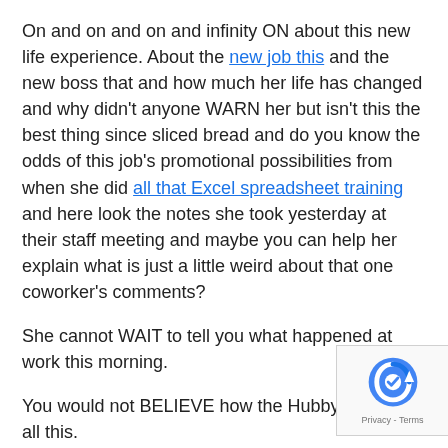On and on and on and infinity ON about this new life experience. About the new job this and the new boss that and how much her life has changed and why didn't anyone WARN her but isn't this the best thing since sliced bread and do you know the odds of this job's promotional possibilities from when she did all that Excel spreadsheet training and here look the notes she took yesterday at their staff meeting and maybe you can help her explain what is just a little weird about that one coworker's comments?
She cannot WAIT to tell you what happened at work this morning.
You would not BELIEVE how the Hubby is taking all this.
It's a good thing she's adaptable to not getting any sleep